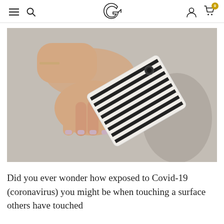Navigation bar with hamburger menu, search icon, G logo, user icon, and cart icon with badge 0
[Figure (photo): Overhead view of a hand holding a black-and-white striped rectangular air purifier device on a concrete surface, with a shadow visible to the right.]
Did you ever wonder how exposed to Covid-19 (coronavirus) you might be when touching a surface others have touched